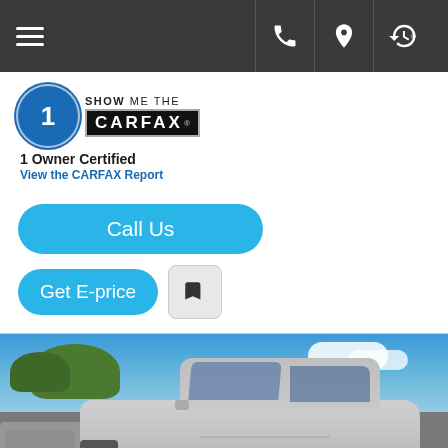Navigation bar with menu, phone, location, and history icons
[Figure (logo): CARFAX 1 Owner Certified badge with blue circle showing number 1, 'SHOW ME THE CARFAX' text]
1 Owner Certified
View the CARFAX Report
Call Us
Get E-price
[Figure (photo): Silver Toyota Tacoma pickup truck in a car dealership lot with blue sky and trees in background]